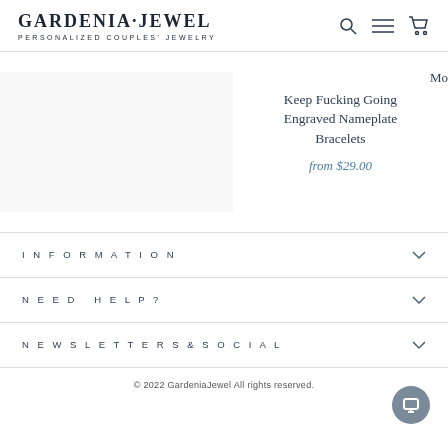GARDENIA·JEWEL PERSONALIZED COUPLES' JEWELRY
Keep Fucking Going Engraved Nameplate Bracelets
from $29.00
Mo
INFORMATION
NEED HELP?
NEWSLETTERS&SOCIAL
© 2022 GardeniaJewel All rights reserved.